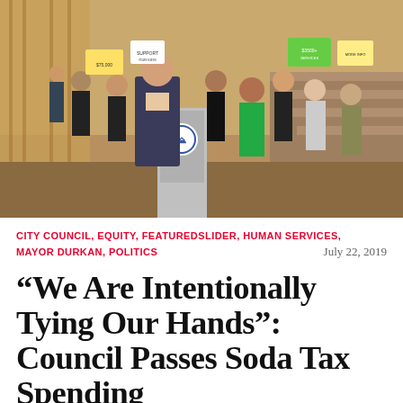[Figure (photo): A man in a suit stands at a podium with a city seal. Behind him, a crowd of people hold protest signs. Several people wear black t-shirts with green logos. A woman in a bright green shirt stands prominently in the crowd.]
CITY COUNCIL, EQUITY, FEATUREDSLIDER, HUMAN SERVICES, MAYOR DURKAN, POLITICS     July 22, 2019
“We Are Intentionally Tying Our Hands”: Council Passes Soda Tax Spending